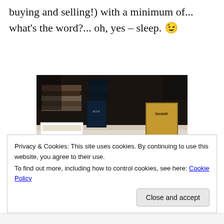buying and selling!) with a minimum of... what's the word?... oh, yes – sleep. 😉
[Figure (photo): A table covered with a white tablecloth displaying stacks of fantasy/sci-fi books with dark covers, some small packaged cards or booklets spread in the foreground, at what appears to be a book convention or seller table.]
Privacy & Cookies: This site uses cookies. By continuing to use this website, you agree to their use.
To find out more, including how to control cookies, see here: Cookie Policy
Close and accept